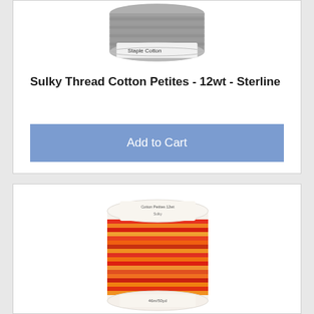[Figure (photo): Gray thread spool - Sulky Cotton Petites 12wt Sterline, top portion visible]
Sulky Thread Cotton Petites - 12wt - Sterline
$3.95
Add to Cart
[Figure (photo): Red and orange variegated thread spool - Cotton Petites, bottom product card]